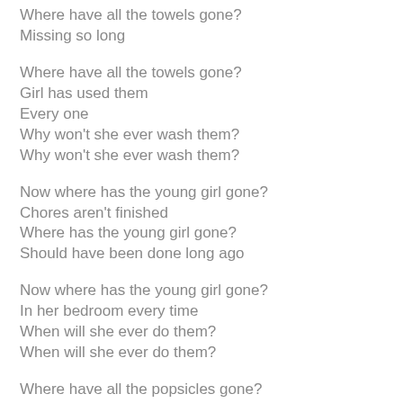Where have all the towels gone?
Missing so long
Where have all the towels gone?
Girl has used them
Every one
Why won't she ever wash them?
Why won't she ever wash them?
Now where has the young girl gone?
Chores aren't finished
Where has the young girl gone?
Should have been done long ago
Now where has the young girl gone?
In her bedroom every time
When will she ever do them?
When will she ever do them?
Where have all the popsicles gone?
Box is empty
Where have all the popsicles gone?